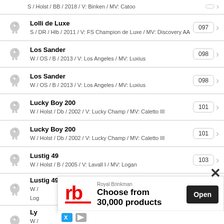S / Holst / BB / 2018 / V: Binken / MV: Catoo
Lolli de Luxe
S / DR / Hlb / 2011 / V: FS Champion de Luxe / MV: Discovery AA
097
Los Sander
W / OS / B / 2013 / V: Los Angeles / MV: Luxius
098
Los Sander
W / OS / B / 2013 / V: Los Angeles / MV: Luxius
098
Lucky Boy 200
W / Holst / Db / 2002 / V: Lucky Champ / MV: Caletto III
101
Lucky Boy 200
W / Holst / Db / 2002 / V: Lucky Champ / MV: Caletto III
101
Lustig 49
W / Holst / B / 2005 / V: Lavall I / MV: Logan
103
Lustig 49
W / ...
3
Ly...
W / ...
NE...
4
Lysanu 1x
101
[Figure (infographic): Royal Brinkman advertisement overlay with logo, text 'Choose from 30,000 products' and Open button]
X (close button)